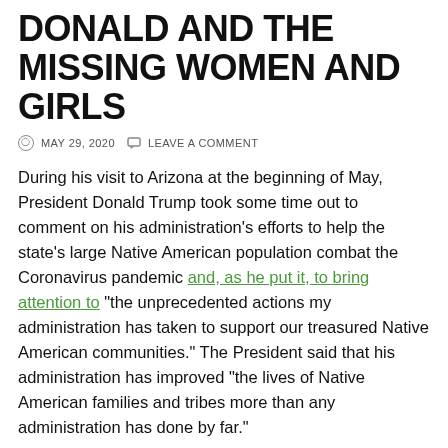DONALD AND THE MISSING WOMEN AND GIRLS
MAY 29, 2020   LEAVE A COMMENT
During his visit to Arizona at the beginning of May, President Donald Trump took some time out to comment on his administration's efforts to help the state's large Native American population combat the Coronavirus pandemic and, as he put it, to bring attention to “the unprecedented actions my administration has taken to support our treasured Native American communities.” The President said that his administration has improved “the lives of Native American families and tribes more than any administration has done by far.”
That is quite a claim, and it’s not supported by the evidence.